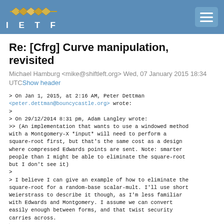IETF
Re: [Cfrg] Curve manipulation, revisited
Michael Hamburg <mike@shiftleft.org> Wed, 07 January 2015 18:34 UTC Show header
> On Jan 1, 2015, at 2:16 AM, Peter Dettman
<peter.dettman@bouncycastle.org> wrote:
>
> On 29/12/2014 8:31 pm, Adam Langley wrote:
>> (An implementation that wants to use a windowed method
with a Montgomery-X *input* will need to perform a
square-root first, but that's the same cost as a design
where compressed Edwards points are sent. Note: smarter
people than I might be able to eliminate the square-root
but I don't see it)
>
> I believe I can give an example of how to eliminate the
square-root for a random-base scalar-mult. I'll use short
Weierstrass to describe it though, as I'm less familiar
with Edwards and Montgomery. I assume we can convert
easily enough between forms, and that twist security
carries across.
>